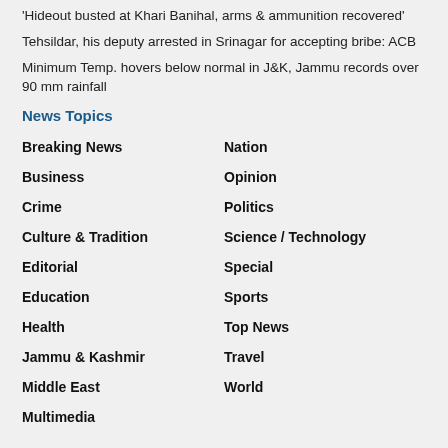'Hideout busted at Khari Banihal, arms & ammunition recovered'
Tehsildar, his deputy arrested in Srinagar for accepting bribe: ACB
Minimum Temp. hovers below normal in J&K, Jammu records over 90 mm rainfall
News Topics
Breaking News
Nation
Business
Opinion
Crime
Politics
Culture & Tradition
Science / Technology
Editorial
Special
Education
Sports
Health
Top News
Jammu & Kashmir
Travel
Middle East
World
Multimedia